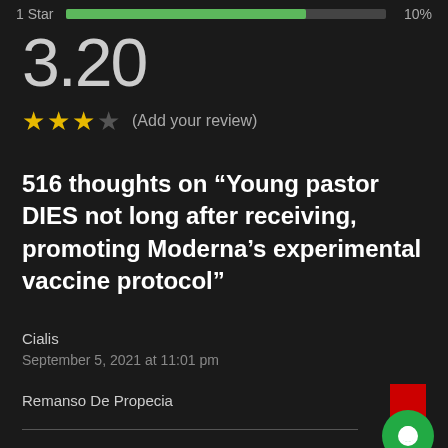1 Star   [bar]   10%
3.20
★★★☆ (Add your review)
516 thoughts on “Young pastor DIES not long after receiving, promoting Moderna’s experimental vaccine protocol”
Cialis
September 5, 2021 at 11:01 pm
Remanso De Propecia